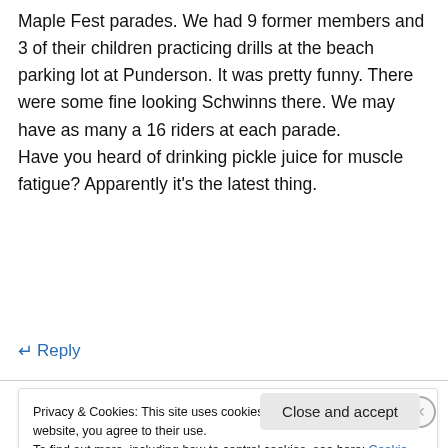Maple Fest parades. We had 9 former members and 3 of their children practicing drills at the beach parking lot at Punderson. It was pretty funny. There were some fine looking Schwinns there. We may have as many a 16 riders at each parade.
Have you heard of drinking pickle juice for muscle fatigue? Apparently it's the latest thing.
↵ Reply
Privacy & Cookies: This site uses cookies. By continuing to use this website, you agree to their use.
To find out more, including how to control cookies, see here: Cookie Policy
Close and accept